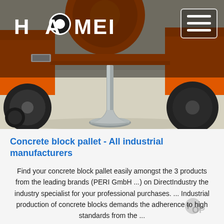[Figure (photo): Photo of an orange concrete mixer machine with wheels on a concrete floor, showing a metal stabilizer leg/jack extending down to a circular base plate on the ground. The image has a dark overlay at the top where a website header appears.]
Concrete block pallet - All industrial manufacturers
Find your concrete block pallet easily amongst the 3 products from the leading brands (PERI GmbH ...) on DirectIndustry the industry specialist for your professional purchases. ... Industrial production of concrete blocks demands the adherence to high standards from the ...